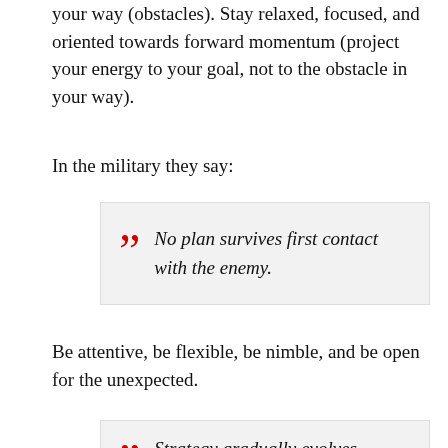your way (obstacles). Stay relaxed, focused, and oriented towards forward momentum (project your energy to your goal, not to the obstacle in your way).
In the military they say:
No plan survives first contact with the enemy.
Be attentive, be flexible, be nimble, and be open for the unexpected.
Strategy gradually evolves – tactics